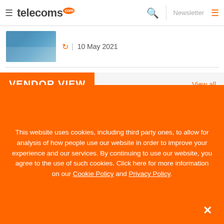telecoms.com | Newsletter
10 May 2021
VENDOR VIEW
View all
Bringing New Digital Life to
This website uses cookies, including third party ones, to allow for analysis of how people use our website in order to improve your experience and our services. By continuing to use our website, you agree to the use of such cookies. Click here for more information on our Cookie Policy and Privacy Policy.